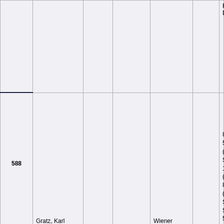| # | Name | Rank | DOB | Place | Score | Units |
| --- | --- | --- | --- | --- | --- | --- |
|  |  |  |  |  |  | Reich Def) |
| 588 | Gratz, Karl 'Charlie' | Oblt | 1/24/1919 | Wiener Neustadt | 138 | 8/JG-52 (5 S.U.), 11/J (3/43), 8/JG (4/44 S.U.), Stab/JG-52 (10/44) |